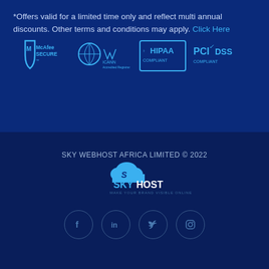*Offers valid for a limited time only and reflect multi annual discounts. Other terms and conditions may apply. Click Here
[Figure (logo): Security and compliance badge logos: McAfee SECURE, ICANN Accredited Registrar, HIPAA Compliant, PCI DSS Compliant]
SKY WEBHOST AFRICA LIMITED © 2022
[Figure (logo): SkyHost logo with cloud icon and tagline MAKE YOUR BRAND VISIBLE ONLINE]
[Figure (infographic): Social media icon circles: Facebook, LinkedIn, Twitter, Instagram/other]